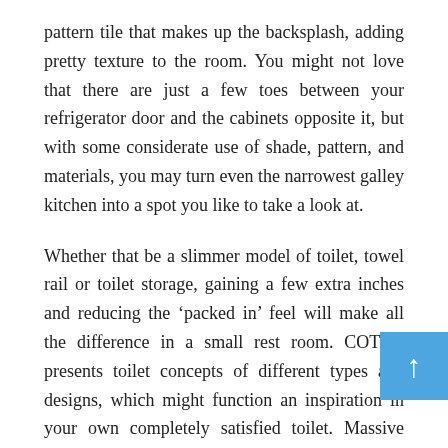pattern tile that makes up the backsplash, adding pretty texture to the room. You might not love that there are just a few toes between your refrigerator door and the cabinets opposite it, but with some considerate use of shade, pattern, and materials, you may turn even the narrowest galley kitchen into a spot you like to take a look at.
Whether that be a slimmer model of toilet, towel rail or toilet storage, gaining a few extra inches and reducing the ‘packed in’ feel will make all the difference in a small rest room. COTTO presents toilet concepts of different types and designs, which might function an inspiration in your own completely satisfied toilet. Massive vanity models will have drawers and compartments to retailer a large number of toiletries and toilet requirements, and in case bathroom or cloakroom has room for a built-in cupboard you can begin storing small accessories and larger items